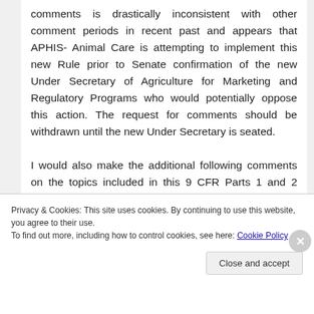comments is drastically inconsistent with other comment periods in recent past and appears that APHIS- Animal Care is attempting to implement this new Rule prior to Senate confirmation of the new Under Secretary of Agriculture for Marketing and Regulatory Programs who would potentially oppose this action. The request for comments should be withdrawn until the new Under Secretary is seated.

I would also make the additional following comments on the topics included in this 9 CFR Parts 1 and 2 Docket No. APHIS-2017-0062 RIN
Privacy & Cookies: This site uses cookies. By continuing to use this website, you agree to their use.
To find out more, including how to control cookies, see here: Cookie Policy
Close and accept